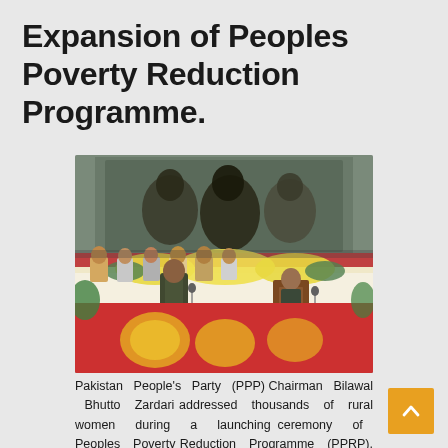Expansion of Peoples Poverty Reduction Programme.
[Figure (photo): A public event or ceremony showing a speaker at a podium on a stage decorated with flowers and a red banner, with additional people seated at a table behind the podium and a large screen projection in the background.]
Pakistan People's Party (PPP) Chairman Bilawal Bhutto Zardari addressed thousands of rural women during a launching ceremony of Peoples Poverty Reduction Programme (PPRP), organized by Sindh Rural Support organization in Ghotki district on September 01, 2021. Chief Minister Sindh Syed Murad Ali Shah